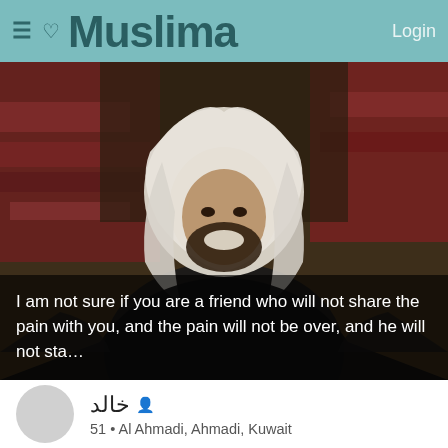Muslima  Login
[Figure (photo): A man wearing a white traditional Arab headdress (keffiyeh) and dark clothing, smiling and seated on richly patterned cushions/fabric. The background is dark with colorful textile patterns.]
I am not sure if you are a friend who will not share the pain with you, and the pain will not be over, and he will not sta…
خالد  51 • Al Ahmadi, Ahmadi, Kuwait